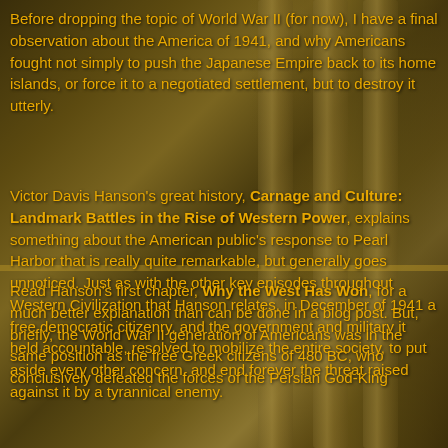Before dropping the topic of World War II (for now), I have a final observation about the America of 1941, and why Americans fought not simply to push the Japanese Empire back to its home islands, or force it to a negotiated settlement, but to destroy it utterly.
Victor Davis Hanson's great history, Carnage and Culture: Landmark Battles in the Rise of Western Power, explains something about the American public's response to Pearl Harbor that is really quite remarkable, but generally goes unnoticed. Just as with the other key episodes throughout Western Civilization that Hanson relates, in December of 1941 a free democratic citizenry, and the government and military it held accountable, resolved to mobilize the entire society, to put aside every other concern, and end forever the threat raised against it by a tyrannical enemy.
Read Hanson's first chapter, Why the West Has Won, for a much better explanation than can be done in a blog post. But, briefly, the World War II generation of Americans was in the same position as the free Greek citizens of 480 BC, who conclusively defeated the forces of the Persian God-King